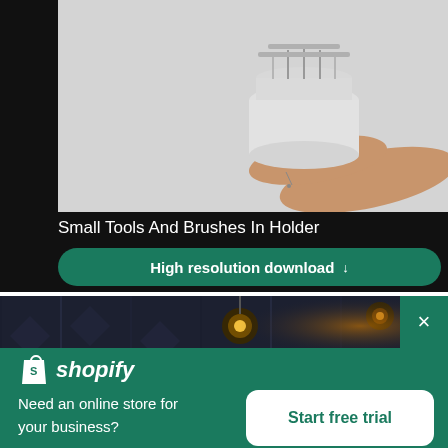[Figure (photo): A hand holding a small cylindrical lamp or tool holder from below against a light grey background, cropped at the top]
Small Tools And Brushes In Holder
High resolution download ↓
[Figure (photo): Dark moody photo with pendant lights and warm glowing light, partially visible behind overlay]
[Figure (logo): Shopify logo — white shopping bag icon with S and italic shopify text]
Need an online store for your business?
Start free trial